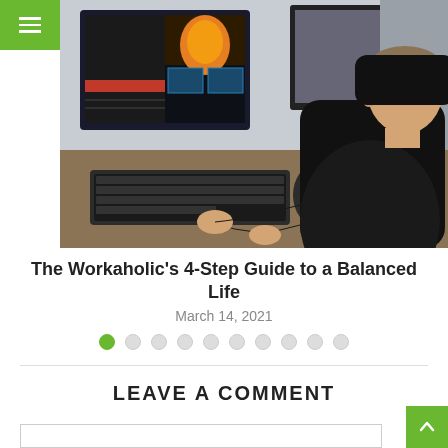[Figure (photo): Person seen from behind typing at a desk with two large monitors displaying colorful design software, wearing a black hoodie, sitting in a black office chair]
The Workaholic's 4-Step Guide to a Balanced Life
March 14, 2021
LEAVE A COMMENT